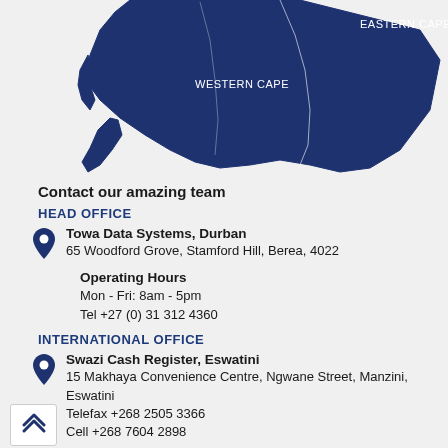[Figure (map): Map of southern South Africa showing Western Cape and Eastern Cape provinces in dark navy blue with white region outlines and labels.]
Contact our amazing team
HEAD OFFICE
Towa Data Systems, Durban
65 Woodford Grove, Stamford Hill, Berea, 4022
Operating Hours
Mon - Fri: 8am - 5pm
Tel +27 (0) 31 312 4360
INTERNATIONAL OFFICE
Swazi Cash Register, Eswatini
15 Makhaya Convenience Centre, Ngwane Street, Manzini, Eswatini
Telefax +268 2505 3366
Cell +268 7604 2898